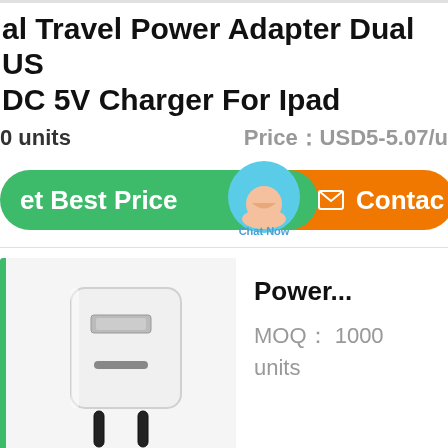al Travel Power Adapter Dual US DC 5V Charger For Ipad
0 units   Price：USD5-5.07/u
[Figure (screenshot): Green 'Get Best Price' button, an overlapping chat bubble icon with 'Chat Now' label, and orange 'Contact' button]
[Figure (photo): White travel power adapter with foldable EU plug prongs]
Power...
MOQ： 1000 units